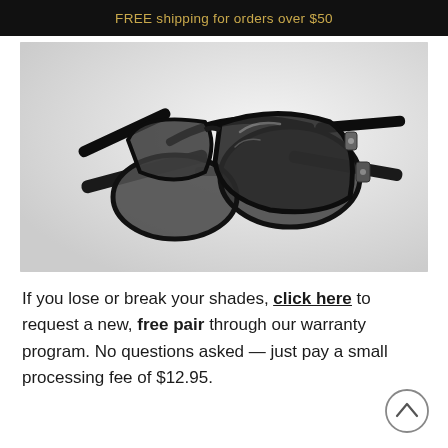FREE shipping for orders over $50
[Figure (photo): Two pairs of black-framed sunglasses with dark lenses, disassembled and overlapping on a white background.]
If you lose or break your shades, click here to request a new, free pair through our warranty program. No questions asked — just pay a small processing fee of $12.95.